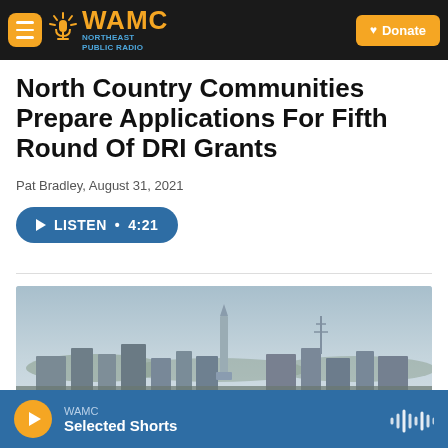WAMC Northeast Public Radio — Donate
North Country Communities Prepare Applications For Fifth Round Of DRI Grants
Pat Bradley, August 31, 2021
LISTEN • 4:21
[Figure (photo): Aerial/skyline view of a North Country city with a monument or obelisk visible, hazy sky and rooftops in background]
WAMC — Selected Shorts